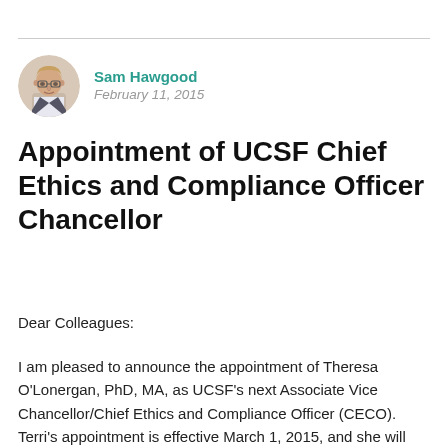[Figure (photo): Circular avatar portrait of Sam Hawgood, a man with glasses and light hair, wearing a suit.]
Sam Hawgood
February 11, 2015
Appointment of UCSF Chief Ethics and Compliance Officer Chancellor
Dear Colleagues:
I am pleased to announce the appointment of Theresa O'Lonergan, PhD, MA, as UCSF's next Associate Vice Chancellor/Chief Ethics and Compliance Officer (CECO). Terri's appointment is effective March 1, 2015, and she will report directly to me, as well as to Sheryl Vacca, Senior Vice President – Ethics, Compliance, and Audit Services in the Office of the President. Her office will be based at